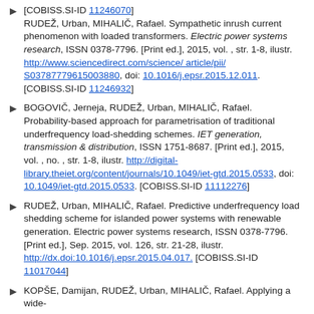[COBISS.SI-ID 11246070] RUDEŽ, Urban, MIHALIČ, Rafael. Sympathetic inrush current phenomenon with loaded transformers. Electric power systems research, ISSN 0378-7796. [Print ed.], 2015, vol. , str. 1-8, ilustr. http://www.sciencedirect.com/science/article/pii/S03787779615003880, doi: 10.1016/j.epsr.2015.12.011. [COBISS.SI-ID 11246932]
BOGOVIČ, Jerneja, RUDEŽ, Urban, MIHALIČ, Rafael. Probability-based approach for parametrisation of traditional underfrequency load-shedding schemes. IET generation, transmission & distribution, ISSN 1751-8687. [Print ed.], 2015, vol. , no. , str. 1-8, ilustr. http://digital-library.theiet.org/content/journals/10.1049/iet-gtd.2015.0533, doi: 10.1049/iet-gtd.2015.0533. [COBISS.SI-ID 11112276]
RUDEŽ, Urban, MIHALIČ, Rafael. Predictive underfrequency load shedding scheme for islanded power systems with renewable generation. Electric power systems research, ISSN 0378-7796. [Print ed.], Sep. 2015, vol. 126, str. 21-28, ilustr. http://dx.doi:10.1016/j.epsr.2015.04.017. [COBISS.SI-ID 11017044]
KOPŠE, Damijan, RUDEŽ, Urban, MIHALIČ, Rafael. Applying a wide-